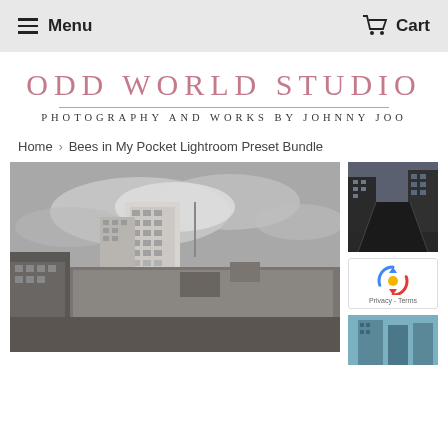Menu  Cart
ODD WORLD STUDIO
PHOTOGRAPHY AND WORKS BY JOHNNY JOO
Home › Bees in My Pocket Lightroom Preset Bundle
[Figure (photo): Urban cityscape with tall residential/commercial buildings under a cloudy grey sky, desaturated tones]
[Figure (photo): Urban street view between buildings, dark moody tones]
[Figure (photo): Partially visible second thumbnail, appears to show buildings or street scene]